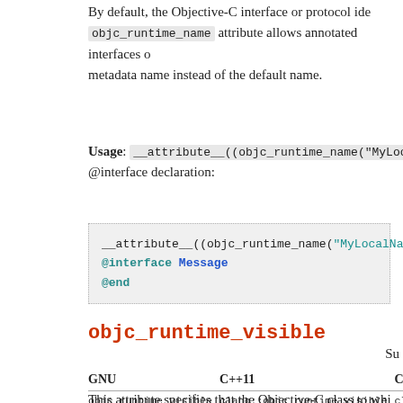By default, the Objective-C interface or protocol idea objc_runtime_name attribute allows annotated interfaces or metadata name instead of the default name.
Usage: __attribute__((objc_runtime_name("MyLocalName"))) @interface declaration:
__attribute__((objc_runtime_name("MyLocalName")))
@interface Message
@end
objc_runtime_visible
Su
| GNU | C++11 | C2x |
| --- | --- | --- |
| objc_runtime_visible | clang::objc_runtime_visible | clang:: |
This attribute specifies that the Objective-C class to whi linker. Classes annotated with this attribute cannot be su